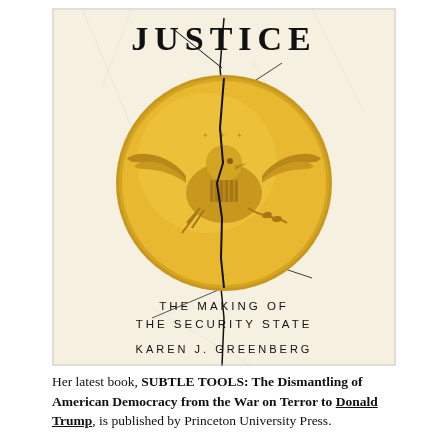[Figure (illustration): Book cover of 'Justice: The Making of the Security State' by Karen J. Greenberg. Cream/marble background with cracks. Large gold medallion coin featuring an eagle (American seal style) cracked down the middle. Title 'JUSTICE' at top in large serif letters, subtitle 'THE MAKING OF THE SECURITY STATE' in spaced capitals below the medallion, author name 'KAREN J. GREENBERG' at bottom.]
Her latest book, SUBTLE TOOLS: The Dismantling of American Democracy from the War on Terror to Donald Trump, is published by Princeton University Press.